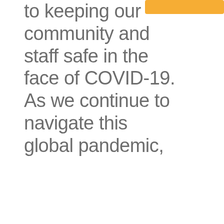[Figure (illustration): Decorative shapes: a golden/amber horizontal bar at top right, and a large blue-grey chevron/arrow shape pointing left on the right side of the page.]
to keeping our community and staff safe in the face of COVID-19. As we continue to navigate this global pandemic,